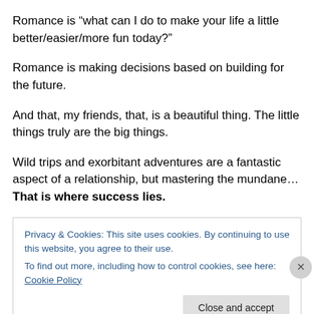Romance is “what can I do to make your life a little better/easier/more fun today?”
Romance is making decisions based on building for the future.
And that, my friends, that, is a beautiful thing. The little things truly are the big things.
Wild trips and exorbitant adventures are a fantastic aspect of a relationship, but mastering the mundane… That is where success lies.
Privacy & Cookies: This site uses cookies. By continuing to use this website, you agree to their use.
To find out more, including how to control cookies, see here: Cookie Policy
Close and accept